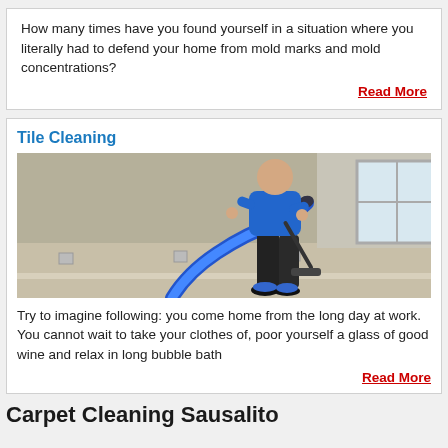How many times have you found yourself in a situation where you literally had to defend your home from mold marks and mold concentrations?
Read More
Tile Cleaning
[Figure (photo): A man in a blue shirt cleaning a floor with a blue hose/vacuum equipment in an empty room with a window.]
Try to imagine following: you come home from the long day at work. You cannot wait to take your clothes of, poor yourself a glass of good wine and relax in long bubble bath
Read More
Carpet Cleaning Sausalito